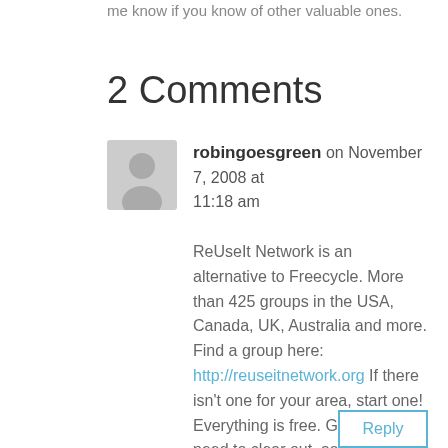me know if you know of other valuable ones.
2 Comments
robingoesgreen on November 7, 2008 at 11:18 am
ReUseIt Network is an alternative to Freecycle. More than 425 groups in the USA, Canada, UK, Australia and more. Find a group here: http://reuseitnetwork.org If there isn't one for your area, start one! Everything is free. Give what you need to clear out, ask for what you need!
Reply